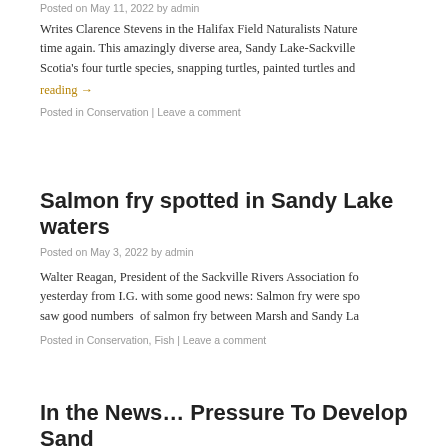Posted on May 11, 2022 by admin
Writes Clarence Stevens in the Halifax Field Naturalists Nature time again. This amazingly diverse area, Sandy Lake-Sackville Scotia's four turtle species, snapping turtles, painted turtles and
reading →
Posted in Conservation | Leave a comment
Salmon fry spotted in Sandy Lake waters
Posted on May 3, 2022 by admin
Walter Reagan, President of the Sackville Rivers Association fo yesterday from I.G. with some good news: Salmon fry were spo saw good numbers of salmon fry between Marsh and Sandy La
Posted in Conservation, Fish | Leave a comment
In the News… Pressure To Develop Sand